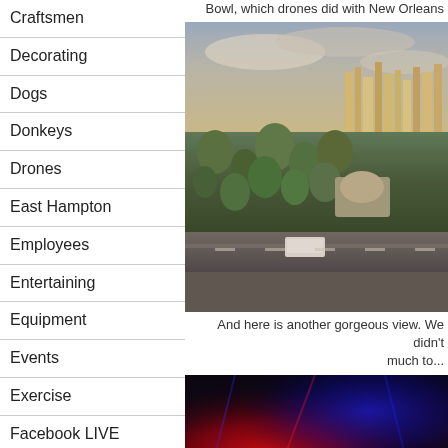Bowl, which drones did with New Orleans to...
Craftsmen
Decorating
Dogs
Donkeys
Drones
East Hampton
Employees
Entertaining
Equipment
Events
Exercise
Facebook LIVE
Family
Farms
Fence
Fields
Flowers
[Figure (photo): Aerial view of a city with buildings, parks and palm trees at sunset]
And here is another gorgeous view. We didn't much to...
[Figure (photo): Dark concert or event venue with red and blue lighting]